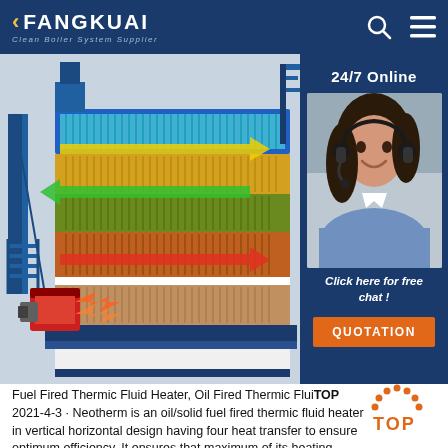FANGKUAI Clean Boiler System Supplier
[Figure (illustration): 3D cutaway diagram of a fuel fired thermic fluid heater boiler showing internal heat transfer chambers with colored arrows indicating heat flow directions (yellow, green, red arrows), mounted on blue structural frame with stairs. Includes a 24/7 online customer service panel with agent photo and QUOTATION button.]
[Figure (illustration): TOP scroll-to-top icon in orange dots forming an arch shape with letters T-O-P]
Fuel Fired Thermic Fluid Heater, Oil Fired Thermic Flui... 2021-4-3 · Neotherm is an oil/solid fuel fired thermic fluid heater in vertical horizontal design having four heat transfer to ensure optimum efficiency. It ensures that maximum of its heating